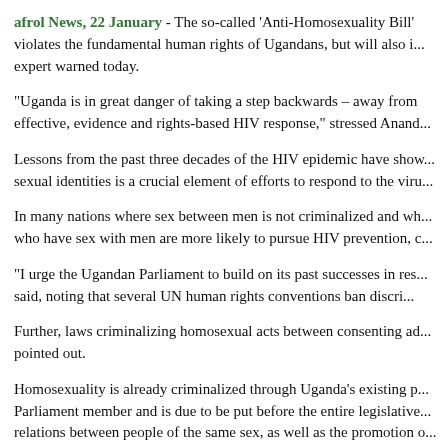afrol News, 22 January - The so-called 'Anti-Homosexuality Bill' violates the fundamental human rights of Ugandans, but will also i... expert warned today.
“Uganda is in great danger of taking a step backwards – away from effective, evidence and rights-based HIV response,” stressed Anand...
Lessons from the past three decades of the HIV epidemic have show... sexual identities is a crucial element of efforts to respond to the viru...
In many nations where sex between men is not criminalized and wh... who have sex with men are more likely to pursue HIV prevention, c...
“I urge the Ugandan Parliament to build on its past successes in res... said, noting that several UN human rights conventions ban discri...
Further, laws criminalizing homosexual acts between consenting ad... pointed out.
Homosexuality is already criminalized through Uganda’s existing p... Parliament member and is due to be put before the entire legislative... relations between people of the same sex, as well as the promotion o... acceptable lifestyle in public institutions.
Since the bill would also include the publication of materials which...